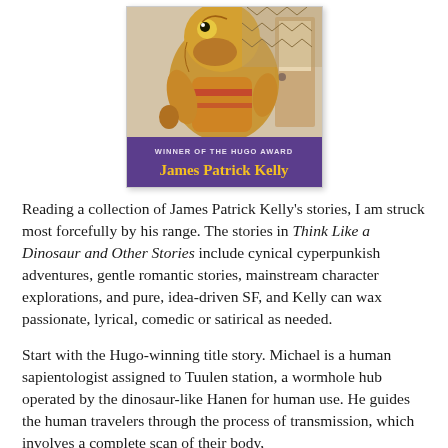[Figure (illustration): Book cover for 'Think Like a Dinosaur and Other Stories' by James Patrick Kelly. Shows an illustrated dinosaur in a spacesuit. Bottom banner is purple with text 'WINNER OF THE HUGO AWARD' in small caps and 'James Patrick Kelly' in large gold/yellow bold text.]
Reading a collection of James Patrick Kelly's stories, I am struck most forcefully by his range. The stories in Think Like a Dinosaur and Other Stories include cynical cyperpunkish adventures, gentle romantic stories, mainstream character explorations, and pure, idea-driven SF, and Kelly can wax passionate, lyrical, comedic or satirical as needed.
Start with the Hugo-winning title story. Michael is a human sapientologist assigned to Tuulen station, a wormhole hub operated by the dinosaur-like Hanen for human use. He guides the human travelers through the process of transmission, which involves a complete scan of their body,